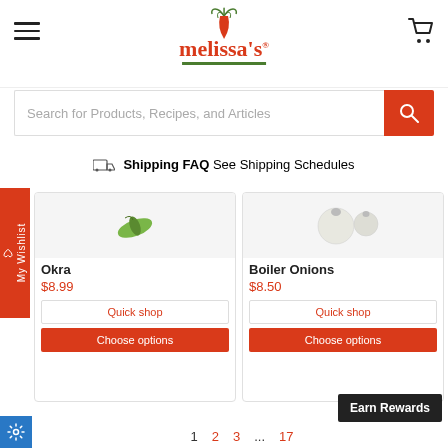[Figure (logo): Melissa's brand logo with carrot graphic, red cursive text and green underline]
Search for Products, Recipes, and Articles
Shipping FAQ See Shipping Schedules
My Wishlist
Okra
$8.99
Quick shop
Choose options
Boiler Onions
$8.50
Quick shop
Choose options
Earn Rewards
1  2  3  ...  17